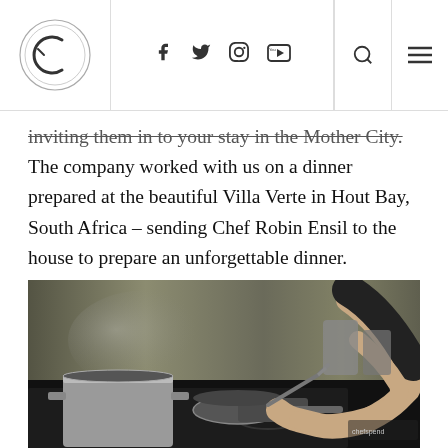Navigation header with logo, social icons (facebook, twitter, pinterest, instagram, youtube), search, and menu
inviting them in to your stay in the Mother City. The company worked with us on a dinner prepared at the beautiful Villa Verte in Hout Bay, South Africa – sending Chef Robin Ensil to the house to prepare an unforgettable dinner.
[Figure (photo): A chef cooking in a professional kitchen, stirring pots on a stove with steam rising, stainless steel background, dark clothing with 'Chefspend' branding visible.]